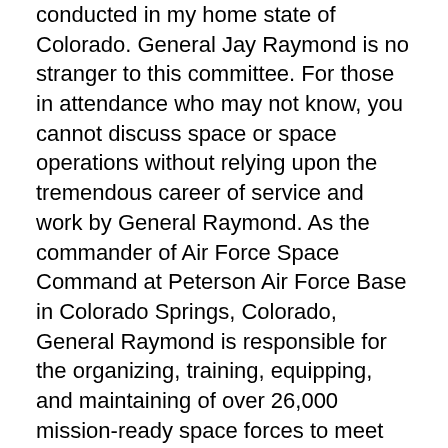conducted in my home state of Colorado. General Jay Raymond is no stranger to this committee. For those in attendance who may not know, you cannot discuss space or space operations without relying upon the tremendous career of service and work by General Raymond. As the commander of Air Force Space Command at Peterson Air Force Base in Colorado Springs, Colorado, General Raymond is responsible for the organizing, training, equipping, and maintaining of over 26,000 mission-ready space forces to meet the operational needs of U.S. Strategic Command, North American Aerospace Defense Command, as well as combatant commands worldwide. This is of course, in addition to General Raymond's role as the Joint Force Space Combatant Commander. General Raymond has answered our nation's call many times. I have the greatest confidence in him as he does so once again to lead U.S. Space Command. As Congress moves forward with this discussion about the reorganization of military space operations, I cannot think of anyone more knowledgeable,